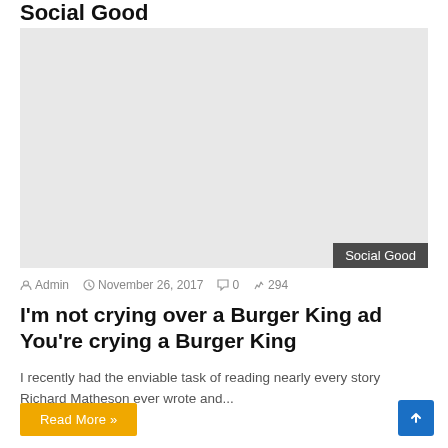Social Good
[Figure (photo): Large placeholder image with 'Social Good' label badge in bottom right corner]
Admin   November 26, 2017   0   294
I'm not crying over a Burger King ad You're crying a Burger King
I recently had the enviable task of reading nearly every story Richard Matheson ever wrote and...
Read More »